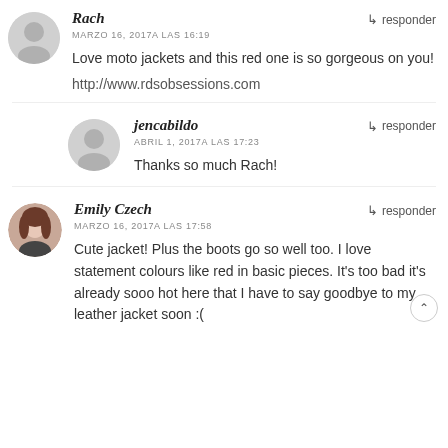Rach — MARZO 16, 2017A LAS 16:19 — Love moto jackets and this red one is so gorgeous on you! http://www.rdsobsessions.com
jencabildo — ABRIL 1, 2017A LAS 17:23 — Thanks so much Rach!
Emily Czech — MARZO 16, 2017A LAS 17:58 — Cute jacket! Plus the boots go so well too. I love statement colours like red in basic pieces. It's too bad it's already sooo hot here that I have to say goodbye to my leather jacket soon :(